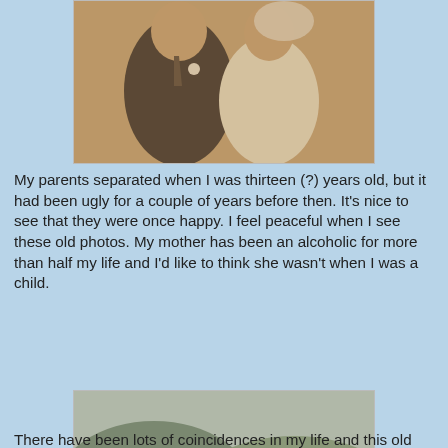[Figure (photo): Old sepia-toned wedding photo showing a man in a dark suit with boutonniere and a woman in a white wedding dress, both smiling, cropped to show upper bodies.]
My parents separated when I was thirteen (?) years old, but it had been ugly for a couple of years before then. It's nice to see that they were once happy. I feel peaceful when I see these old photos. My mother has been an alcoholic for more than half my life and I'd like to think she wasn't when I was a child.
[Figure (photo): Old black-and-white photo of a person wearing a helmet riding a motorcycle on a grassy field, with hills, trees, tents, and trailers visible in the background.]
There have been lots of coincidences in my life and this old